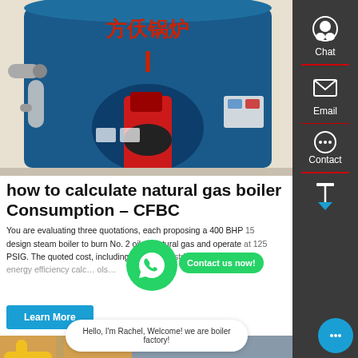[Figure (photo): Industrial gas boiler with blue cylindrical body, red burner component, Chinese text on top, in a factory setting]
how to calculate natural gas boiler Consumption – CFBC
You are evaluating three quotations, each proposing a 400 BHP 15 design steam boiler to burn No. 2 oil or natural gas and operate at 125 PSIG. The quoted cost, including freig… industrial natur… energy efficiency calc… ols…
[Figure (photo): Industrial piping with yellow pipes]
[Figure (photo): Industrial boiler exterior view]